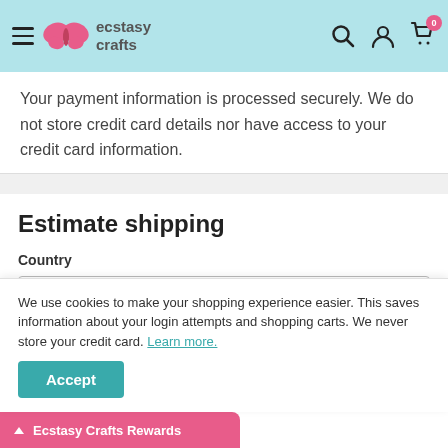ecstasy crafts
Your payment information is processed securely. We do not store credit card details nor have access to your credit card information.
Estimate shipping
Country
United States
We use cookies to make your shopping experience easier. This saves information about your login attempts and shopping carts. We never store your credit card. Learn more.
Accept
Ecstasy Crafts Rewards